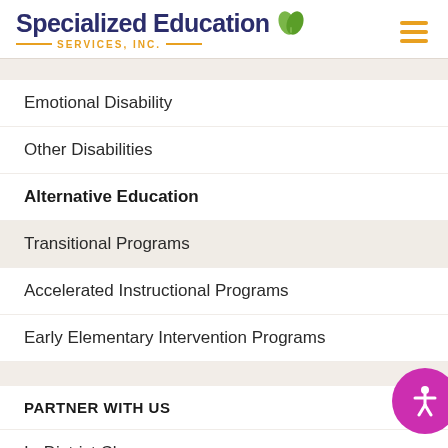Specialized Education Services, Inc.
Best Practices for Responding to Student Behavior Webinar Series
Emotional Disability
Other Disabilities
Alternative Education
Transitional Programs
Accelerated Instructional Programs
Early Elementary Intervention Programs
PARTNER WITH US
In-District Classrooms